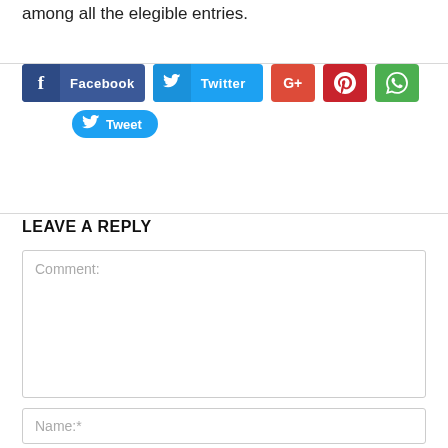among all the elegible entries.
[Figure (screenshot): Social sharing buttons: Facebook, Twitter, Google+, Pinterest, WhatsApp, and a Tweet button]
LEAVE A REPLY
Comment:
Name:*